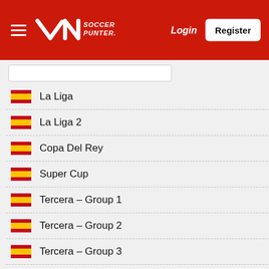Soccer Punter — Login | Register
La Liga
La Liga 2
Copa Del Rey
Super Cup
Tercera - Group 1
Tercera - Group 2
Tercera - Group 3
Tercera - Group 4
Tercera - Group 5